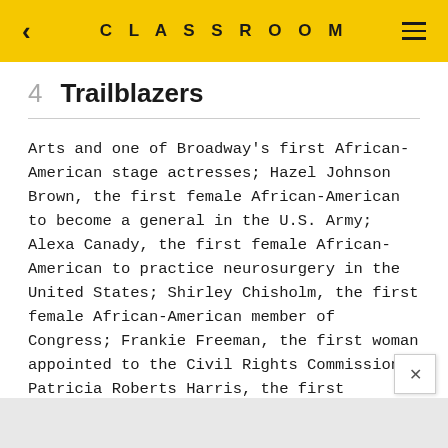CLASSROOM
4  Trailblazers
Arts and one of Broadway's first African-American stage actresses; Hazel Johnson Brown, the first female African-American to become a general in the U.S. Army; Alexa Canady, the first female African-American to practice neurosurgery in the United States; Shirley Chisholm, the first female African-American member of Congress; Frankie Freeman, the first woman appointed to the Civil Rights Commission; Patricia Roberts Harris, the first Secretary of Housing and Urban Development; Elaine R.